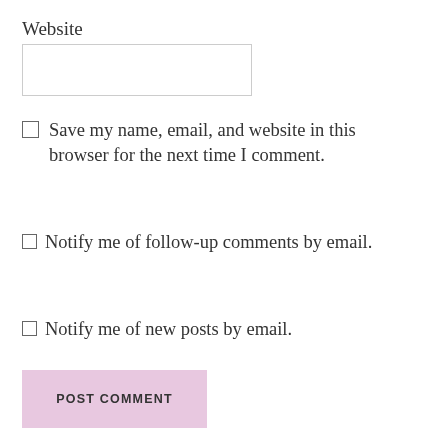Website
[Figure (other): Text input field for Website URL]
Save my name, email, and website in this browser for the next time I comment.
Notify me of follow-up comments by email.
Notify me of new posts by email.
POST COMMENT